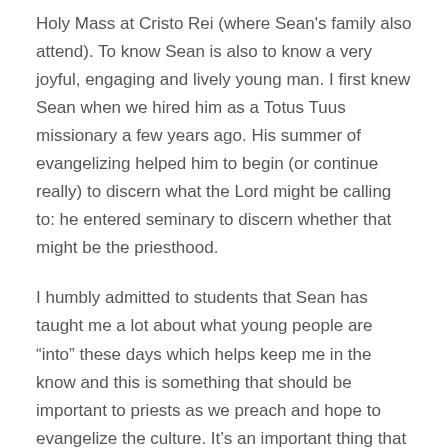Holy Mass at Cristo Rei (where Sean's family also attend).  To know Sean is also to know a very joyful, engaging and lively young man.  I first knew Sean when we hired him as a Totus Tuus missionary a few years ago.  His summer of evangelizing helped him to begin (or continue really) to discern what the Lord might be calling to: he entered seminary to discern whether that might be the priesthood.
I humbly admitted to students that Sean has taught me a lot about what young people are “into” these days which helps keep me in the know and this is something that should be important to priests as we preach and hope to evangelize the culture.  It’s an important thing that we try to understand the culture we live in, and I really appreciate that many of our seminarians, especially both these young men who have helped me in this way.
So as not to put any pressure on them (every seminarian should